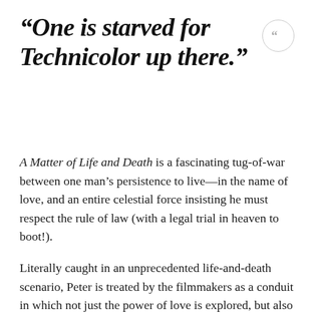“One is starved for Technicolor up there.”
A Matter of Life and Death is a fascinating tug-of-war between one man’s persistence to live—in the name of love, and an entire celestial force insisting he must respect the rule of law (with a legal trial in heaven to boot!).
Literally caught in an unprecedented life-and-death scenario, Peter is treated by the filmmakers as a conduit in which not just the power of love is explored, but also the sometimes frosty British-American relationship during the war.